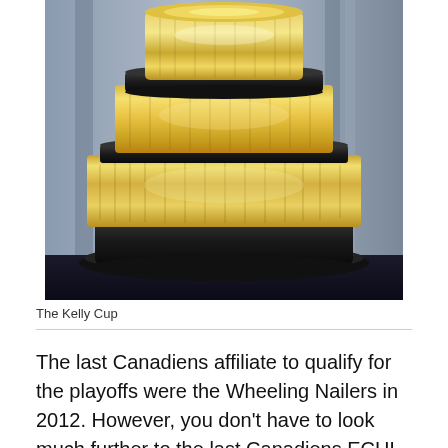[Figure (photo): The Kelly Cup trophy — a large multi-tiered black and gold championship cup with engraved names on gold bands, sitting on a dark surface against a blurred background.]
The Kelly Cup
The last Canadiens affiliate to qualify for the playoffs were the Wheeling Nailers in 2012. However, you don't have to look much further to the last Canadiens ECHL affiliate to actually win the Kelly Cup, who were the